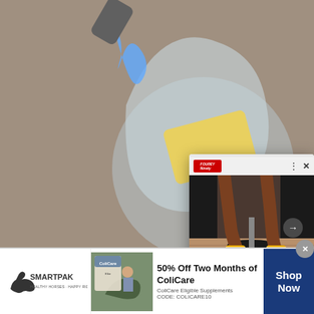[Figure (photo): Background photo of a cocktail glass with a block of cheese/butter being torched by a blowtorch, sitting on a wooden surface. Dark moody kitchen setting.]
[Figure (photo): Popup overlay card showing legs/feet of a person wearing yellow socks and sitting on a salon-style chair, with a 21Ninety logo and navigation arrows and close button.]
9 Timeless Shoes For Fall – 21Ninety
Top Heart Surge
Gundry MD
[Figure (photo): SmartPak advertisement banner with logo, product image of ColiCare supplement, horse and rider photo, promotional text '50% Off Two Months of ColiCare', and 'Shop Now' button.]
50% Off Two Months of ColiCare
ColiCare Eligible Supplements
CODE: COLICARE10